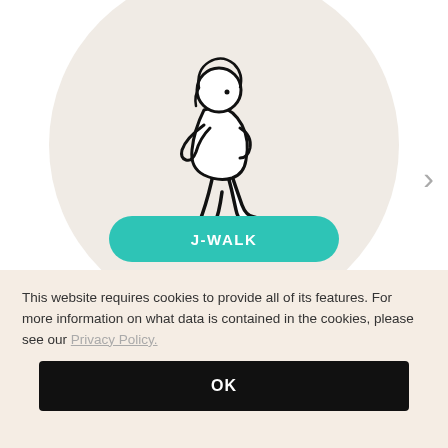[Figure (illustration): A simple line drawing of a small child walking, facing left and looking down, with a shadow beneath their feet, set against a large beige circle background. A right-facing chevron arrow appears to the right.]
J-WALK
This website requires cookies to provide all of its features. For more information on what data is contained in the cookies, please see our Privacy Policy.
OK